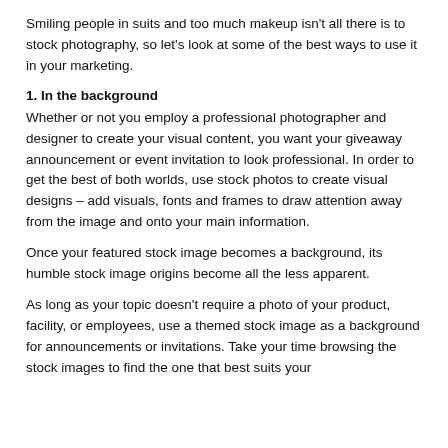Smiling people in suits and too much makeup isn't all there is to stock photography, so let's look at some of the best ways to use it in your marketing.
1. In the background
Whether or not you employ a professional photographer and designer to create your visual content, you want your giveaway announcement or event invitation to look professional. In order to get the best of both worlds, use stock photos to create visual designs – add visuals, fonts and frames to draw attention away from the image and onto your main information.
Once your featured stock image becomes a background, its humble stock image origins become all the less apparent.
As long as your topic doesn't require a photo of your product, facility, or employees, use a themed stock image as a background for announcements or invitations. Take your time browsing the stock images to find the one that best suits your